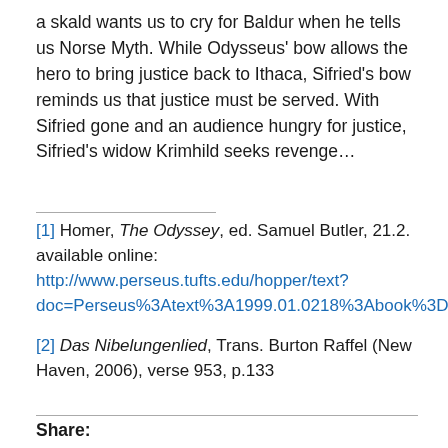a skald wants us to cry for Baldur when he tells us Norse Myth. While Odysseus' bow allows the hero to bring justice back to Ithaca, Sifried's bow reminds us that justice must be served. With Sifried gone and an audience hungry for justice, Sifried's widow Krimhild seeks revenge…
[1] Homer, The Odyssey, ed. Samuel Butler, 21.2. available online: http://www.perseus.tufts.edu/hopper/text?doc=Perseus%3Atext%3A1999.01.0218%3Abook%3D22%3Acard%3D2
[2] Das Nibelungenlied, Trans. Burton Raffel (New Haven, 2006), verse 953, p.133
Share: